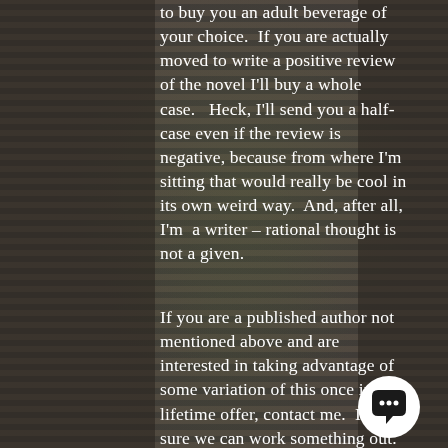to buy you an adult beverage of your choice.  If you are actually moved to write a positive review of the novel I'll buy a whole case.   Heck, I'll send you a half-case even if the review is negative, because from where I'm sitting that would really be cool in its own weird way.  And, after all, I'm  a writer – rational thought is not a given.
If you are a published author not mentioned above and are interested in taking advantage of some variation of this once in a lifetime offer, contact me.  I'm sure we can work something out.  It doesn't take a lot to convince me that libatons shared over good conversation is a good idea.